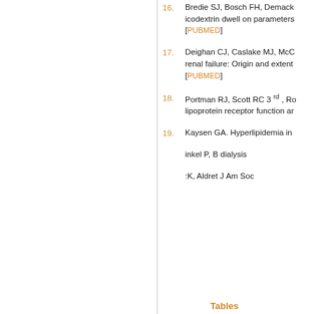16. Bredie SJ, Bosch FH, Demack icodextrin dwell on parameters [PUBMED]
17. Deighan CJ, Caslake MJ, McC renal failure: Origin and extent [PUBMED]
18. Portman RJ, Scott RC 3rd, Ro lipoprotein receptor function ar
19. Kaysen GA. Hyperlipidemia in
inkel P, B dialysis
:K, Aldret J Am Soc
This website uses cookies. By continuing to use this website you are giving consent to cookies being used. For information on cookies and how you can disable them visit our
Privacy and Cookie Policy.
AGREE & PROCEED
Tables